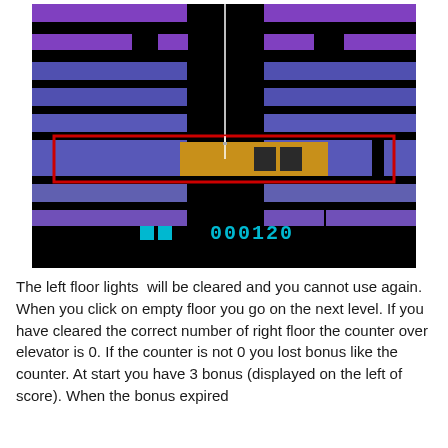[Figure (screenshot): Atari video game screenshot showing a building with purple and blue floors, an elevator (yellow/gold car with two dark windows) highlighted by a red rectangle, and a score display at the bottom showing two cyan squares and '000120' in cyan text on a black background.]
The left floor lights  will be cleared and you cannot use again.
When you click on empty floor you go on the next level. If you have cleared the correct number of right floor the counter over elevator is 0. If the counter is not 0 you lost bonus like the counter. At start you have 3 bonus (displayed on the left of score). When the bonus expired